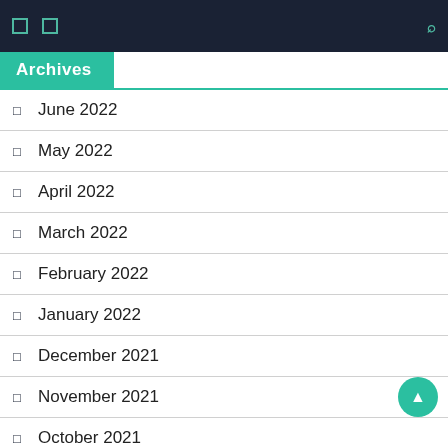Navigation bar with icons and search
Archives
June 2022
May 2022
April 2022
March 2022
February 2022
January 2022
December 2021
November 2021
October 2021